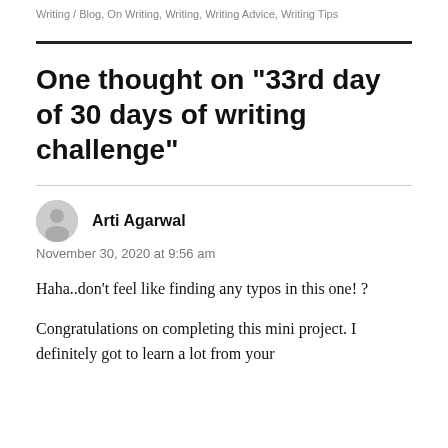Writing / Blog, On Writing, Writing, Writing Advice, Writing Tips
One thought on “33rd day of 30 days of writing challenge”
Arti Agarwal
November 30, 2020 at 9:56 am
Haha..don’t feel like finding any typos in this one! ?
Congratulations on completing this mini project. I definitely got to learn a lot from your